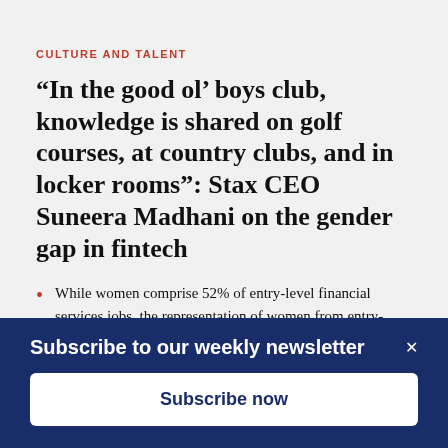CULTURE AND TALENT
“In the good ol’ boys club, knowledge is shared on golf courses, at country clubs, and in locker rooms”: Stax CEO Suneera Madhani on the gender gap in fintech
While women comprise 52% of entry-level financial services jobs, the representation of women from entry-level to the C-suite in the industry falls by 80
Subscribe to our weekly newsletter
Subscribe now